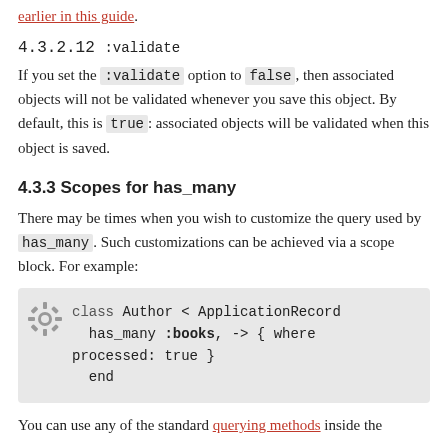earlier in this guide.
4.3.2.12 :validate
If you set the :validate option to false, then associated objects will not be validated whenever you save this object. By default, this is true: associated objects will be validated when this object is saved.
4.3.3 Scopes for has_many
There may be times when you wish to customize the query used by has_many. Such customizations can be achieved via a scope block. For example:
[Figure (screenshot): Code block showing: class Author < ApplicationRecord has_many :books, -> { where processed: true } end]
You can use any of the standard querying methods inside the